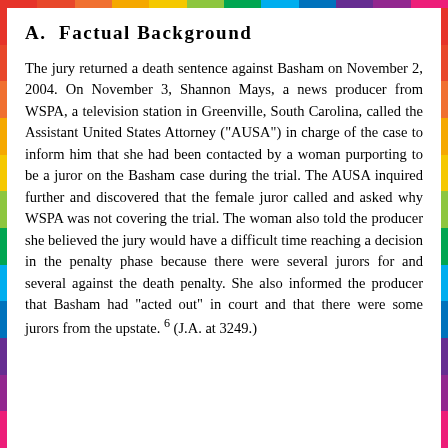A. Factual Background
The jury returned a death sentence against Basham on November 2, 2004. On November 3, Shannon Mays, a news producer from WSPA, a television station in Greenville, South Carolina, called the Assistant United States Attorney ("AUSA") in charge of the case to inform him that she had been contacted by a woman purporting to be a juror on the Basham case during the trial. The AUSA inquired further and discovered that the female juror called and asked why WSPA was not covering the trial. The woman also told the producer she believed the jury would have a difficult time reaching a decision in the penalty phase because there were several jurors for and several against the death penalty. She also informed the producer that Basham had "acted out" in court and that there were some jurors from the upstate. 6 (J.A. at 3249.)